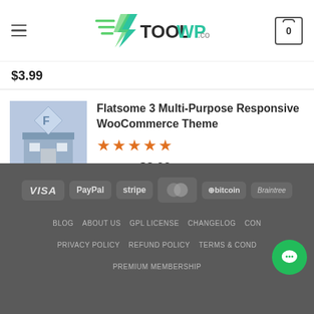ToolWP.com — navigation header with hamburger menu and cart (0)
$3.99
Flatsome 3 Multi-Purpose Responsive WooCommerce Theme — ★★★★★ — $59.00  $3.99
Averie – A Blog & Shop Theme — ★★★★★ — $3.99
VISA  PayPal  stripe  MasterCard  bitcoin  Braintree | BLOG  ABOUT US  GPL LICENSE  CHANGELOG  CONTACT  PRIVACY POLICY  REFUND POLICY  TERMS & CONDITIONS  PREMIUM MEMBERSHIP